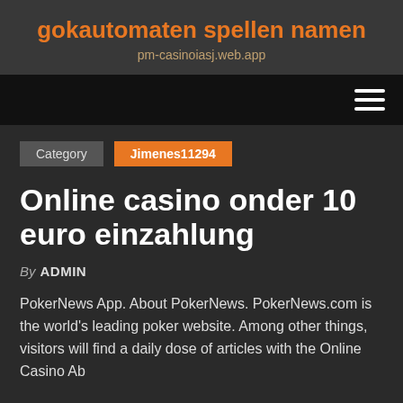gokautomaten spellen namen
pm-casinoiasj.web.app
[Figure (other): Navigation bar with hamburger menu icon (three horizontal white lines) on dark background]
Category   Jimenes11294
Online casino onder 10 euro einzahlung
By ADMIN
PokerNews App. About PokerNews. PokerNews.com is the world's leading poker website. Among other things, visitors will find a daily dose of articles with the Online Casino Ab